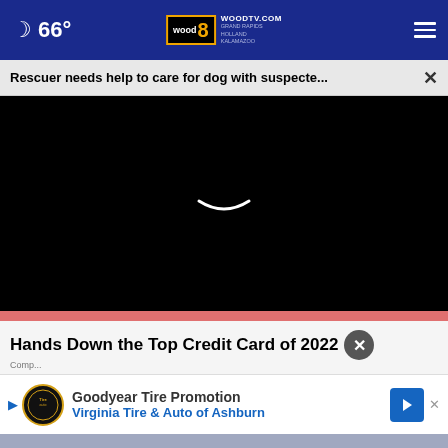🌙 66° | WOODTV.COM WOOD 8 GRAND RAPIDS HOLLAND KALAMAZOO
Rescuer needs help to care for dog with suspecte... ×
[Figure (screenshot): Black video player area with loading spinner (white curved line) centered on screen]
Hands Down the Top Credit Card of 2022 ✕
Comp...
▷ Goodyear Tire Promotion
Virginia Tire & Auto of Ashburn
✕